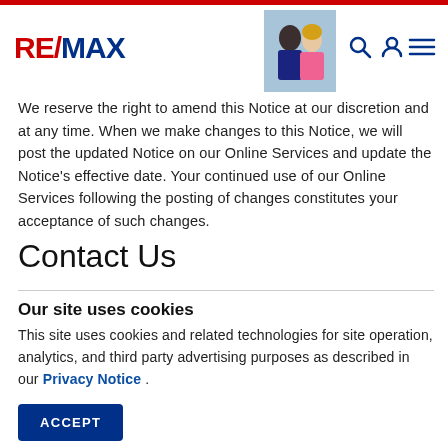RE/MAX [logo with navigation icons and agent photo]
We reserve the right to amend this Notice at our discretion and at any time. When we make changes to this Notice, we will post the updated Notice on our Online Services and update the Notice's effective date. Your continued use of our Online Services following the posting of changes constitutes your acceptance of such changes.
Contact Us
Our site uses cookies
This site uses cookies and related technologies for site operation, analytics, and third party advertising purposes as described in our Privacy Notice .
ACCEPT